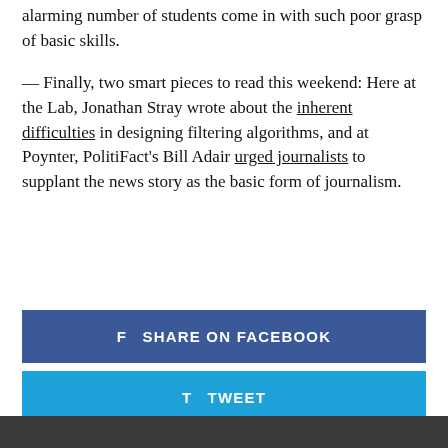alarming number of students come in with such poor grasp of basic skills.
— Finally, two smart pieces to read this weekend: Here at the Lab, Jonathan Stray wrote about the inherent difficulties in designing filtering algorithms, and at Poynter, PolitiFact's Bill Adair urged journalists to supplant the news story as the basic form of journalism.
[Figure (other): Share on Facebook button (dark blue/indigo background, white text with Facebook icon)]
[Figure (other): Tweet button (light blue background, white text with Twitter bird icon)]